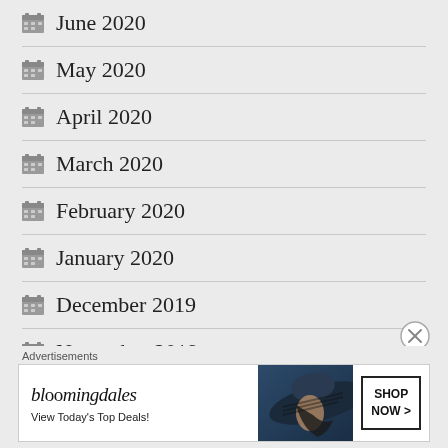June 2020
May 2020
April 2020
March 2020
February 2020
January 2020
December 2019
November 2019
[Figure (other): Bloomingdale's advertisement banner: 'View Today's Top Deals!' with SHOP NOW button and woman wearing a dark wide-brim hat]